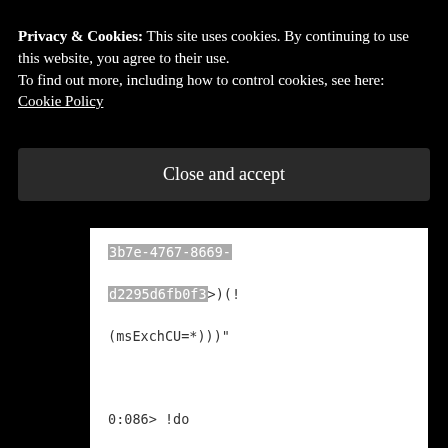Privacy & Cookies: This site uses cookies. By continuing to use this website, you agree to their use.
To find out more, including how to control cookies, see here: Cookie Policy
Close and accept
3b7e-4767-8669-
d2295d6fb0f3>)(!  (msExchCU=*)))"

0:086> !do
00000000e0188bf8
Name: System.String
MethodTable:
000007fef7747d90
EEClass: 000007fef734e560